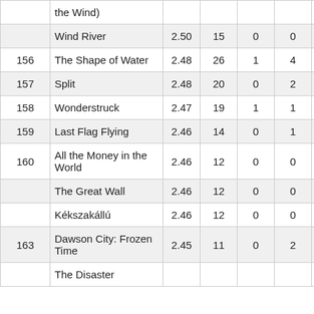| Rank | Title | Score | Col1 | Col2 | Col3 | Col4 | Col5 |
| --- | --- | --- | --- | --- | --- | --- | --- |
|  | Wind River | 2.50 | 15 | 0 | 0 | 6 | 7 |
| 156 | The Shape of Water | 2.48 | 26 | 1 | 4 | 3 | 7 |
| 157 | Split | 2.48 | 20 | 0 | 2 | 5 | 6 |
| 158 | Wonderstruck | 2.47 | 19 | 1 | 1 | 3 | 9 |
| 159 | Last Flag Flying | 2.46 | 14 | 0 | 1 | 5 | 2 |
| 160 | All the Money in the World | 2.46 | 12 | 0 | 0 | 5 | 3 |
|  | The Great Wall | 2.46 | 12 | 0 | 0 | 3 | 6 |
|  | Kékszakállú | 2.46 | 12 | 0 | 0 | 5 | 3 |
| 163 | Dawson City: Frozen Time | 2.45 | 11 | 0 | 2 | 5 | 0 |
|  | The Disaster... |  |  |  |  |  |  |